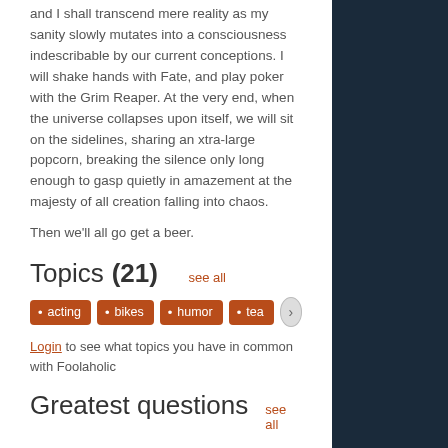and I shall transcend mere reality as my sanity slowly mutates into a consciousness indescribable by our current conceptions. I will shake hands with Fate, and play poker with the Grim Reaper. At the very end, when the universe collapses upon itself, we will sit on the sidelines, sharing an xtra-large popcorn, breaking the silence only long enough to gasp quietly in amazement at the majesty of all creation falling into chaos.
Then we'll all go get a beer.
Topics (21)
acting
bikes
humor
tea
Login to see what topics you have in common with Foolaholic
Greatest questions
If you could eat any pokemon, which would you choose and how would you prepare it?